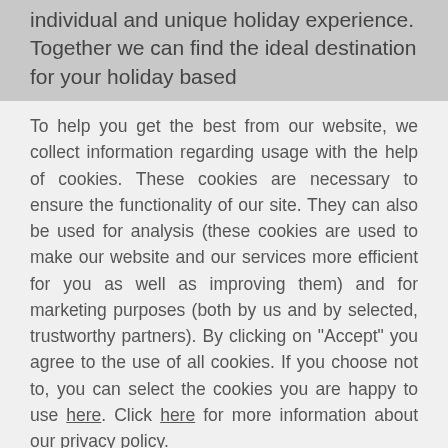individual and unique holiday experience. Together we can find the ideal destination for your holiday based
To help you get the best from our website, we collect information regarding usage with the help of cookies. These cookies are necessary to ensure the functionality of our site. They can also be used for analysis (these cookies are used to make our website and our services more efficient for you as well as improving them) and for marketing purposes (both by us and by selected, trustworthy partners). By clicking on "Accept" you agree to the use of all cookies. If you choose not to, you can select the cookies you are happy to use here. Click here for more information about our privacy policy.
Accept
Decline
Configure